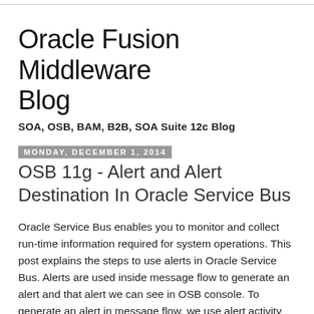Oracle Fusion Middleware Blog
SOA, OSB, BAM, B2B, SOA Suite 12c Blog
Monday, December 1, 2014
OSB 11g - Alert and Alert Destination In Oracle Service Bus
Oracle Service Bus enables you to monitor and collect run-time information required for system operations. This post explains the steps to use alerts in Oracle Service Bus. Alerts are used inside message flow to generate an alert and that alert we can see in OSB console. To generate an alert in message flow, we use alert activity and each alert activity is